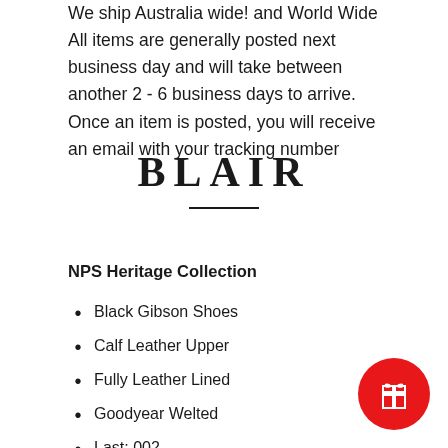We ship Australia wide! and World Wide All items are generally posted next business day and will take between another 2 - 6 business days to arrive. Once an item is posted, you will receive an email with your tracking number
BLAIR
NPS Heritage Collection
Black Gibson Shoes
Calf Leather Upper
Fully Leather Lined
Goodyear Welted
Last: 002
Made In England